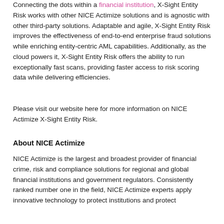Connecting the dots within a financial institution, X-Sight Entity Risk works with other NICE Actimize solutions and is agnostic with other third-party solutions. Adaptable and agile, X-Sight Entity Risk improves the effectiveness of end-to-end enterprise fraud solutions while enriching entity-centric AML capabilities. Additionally, as the cloud powers it, X-Sight Entity Risk offers the ability to run exceptionally fast scans, providing faster access to risk scoring data while delivering efficiencies.
Please visit our website here for more information on NICE Actimize X-Sight Entity Risk.
About NICE Actimize
NICE Actimize is the largest and broadest provider of financial crime, risk and compliance solutions for regional and global financial institutions and government regulators. Consistently ranked number one in the field, NICE Actimize experts apply innovative technology to protect institutions and protect